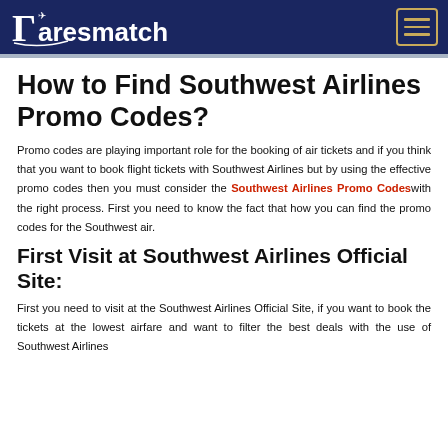Faresmatch
How to Find Southwest Airlines Promo Codes?
Promo codes are playing important role for the booking of air tickets and if you think that you want to book flight tickets with Southwest Airlines but by using the effective promo codes then you must consider the Southwest Airlines Promo Codeswith the right process. First you need to know the fact that how you can find the promo codes for the Southwest air.
First Visit at Southwest Airlines Official Site:
First you need to visit at the Southwest Airlines Official Site, if you want to book the tickets at the lowest airfare and want to filter the best deals with the use of Southwest Airlines